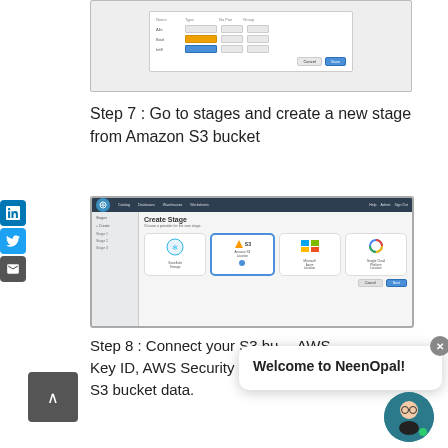[Figure (screenshot): Screenshot of a form dialog with fields and a blue confirm button]
Step 7 : Go to stages and create a new stage from Amazon S3 bucket
[Figure (screenshot): Screenshot of Create Stage dialog showing cloud storage options: Snowflake Storage, Amazon S3, Microsoft Azure, Google Cloud Platform]
Step 8 : Connect your S3 bucket by providing AWS Key ID, AWS Security key, URL to your S3 bucket data.